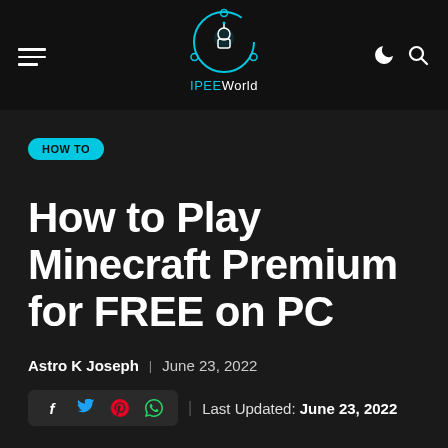IPEEWorld
HOW TO
How to Play Minecraft Premium for FREE on PC
Astro K Joseph | June 23, 2022
Last Updated: June 23, 2022